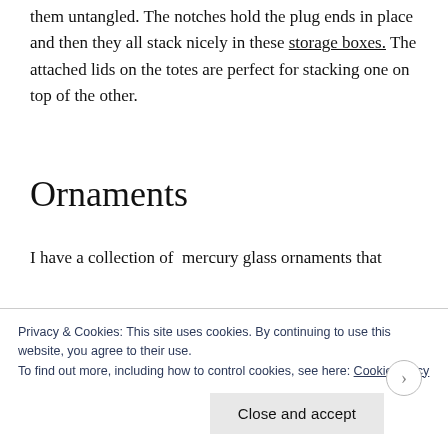The lights wrap around these organizers keeping them untangled. The notches hold the plug ends in place and then they all stack nicely in these storage boxes.  The attached lids on the totes are perfect for stacking one on top of the other.
Ornaments
I have a collection of  mercury glass ornaments that
Privacy & Cookies: This site uses cookies. By continuing to use this website, you agree to their use.
To find out more, including how to control cookies, see here: Cookie Policy